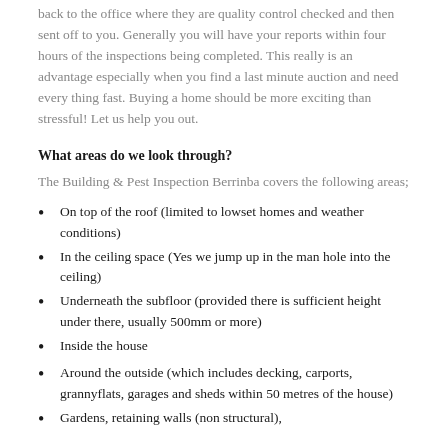back to the office where they are quality control checked and then sent off to you. Generally you will have your reports within four hours of the inspections being completed. This really is an advantage especially when you find a last minute auction and need every thing fast. Buying a home should be more exciting than stressful! Let us help you out.
What areas do we look through?
The Building & Pest Inspection Berrinba covers the following areas;
On top of the roof (limited to lowset homes and weather conditions)
In the ceiling space (Yes we jump up in the man hole into the ceiling)
Underneath the subfloor (provided there is sufficient height under there, usually 500mm or more)
Inside the house
Around the outside (which includes decking, carports, grannyflats, garages and sheds within 50 metres of the house)
Gardens, retaining walls (non structural),